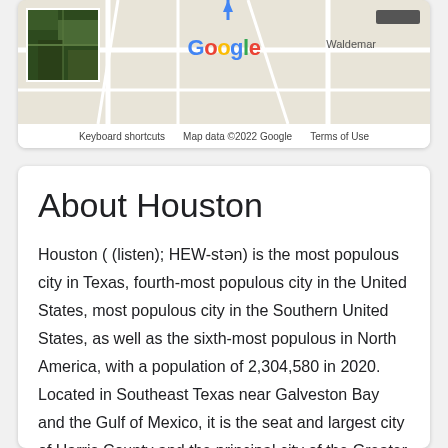[Figure (map): Google Maps screenshot showing a road map with a satellite thumbnail in the top-left corner, the Google logo in the center, 'Waldemar' street label on the right, and a dark toggle button top-right. Footer shows 'Keyboard shortcuts', 'Map data ©2022 Google', 'Terms of Use'.]
About Houston
Houston ( (listen); HEW-stən) is the most populous city in Texas, fourth-most populous city in the United States, most populous city in the Southern United States, as well as the sixth-most populous in North America, with a population of 2,304,580 in 2020. Located in Southeast Texas near Galveston Bay and the Gulf of Mexico, it is the seat and largest city of Harris County and the principal city of the Greater Houston metropolitan area, which is the fifth-most populous metropolitan